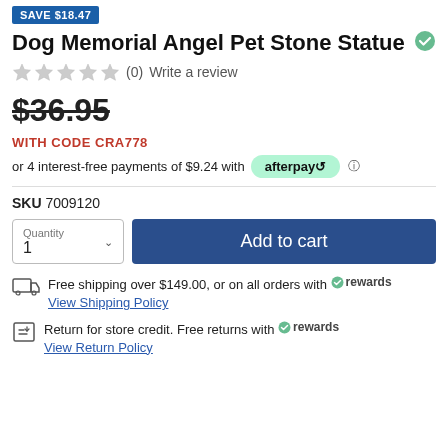SAVE $18.47
Dog Memorial Angel Pet Stone Statue
(0)  Write a review
$36.95 (strikethrough)
WITH CODE CRA778
or 4 interest-free payments of $9.24 with afterpay
SKU 7009120
Quantity 1 | Add to cart
Free shipping over $149.00, or on all orders with rewards
View Shipping Policy
Return for store credit. Free returns with rewards
View Return Policy